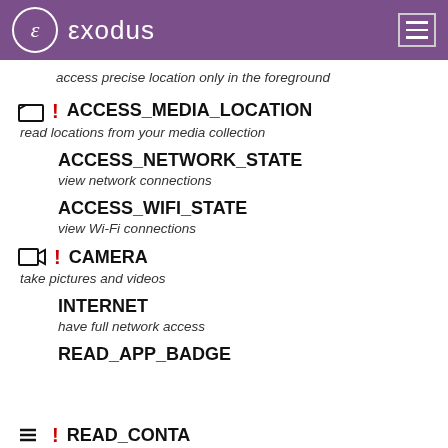exodus
access precise location only in the foreground
ACCESS_MEDIA_LOCATION — read locations from your media collection
ACCESS_NETWORK_STATE — view network connections
ACCESS_WIFI_STATE — view Wi-Fi connections
CAMERA — take pictures and videos
INTERNET — have full network access
READ_APP_BADGE
READ_CONTACTS (partial, cut off)